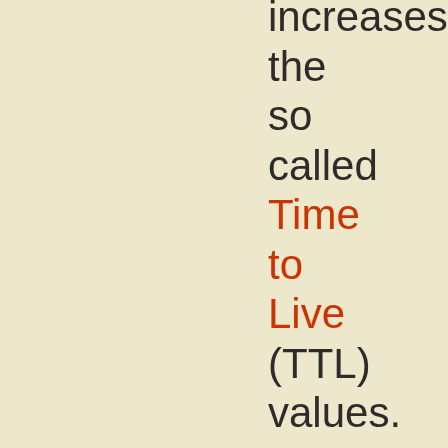increases the so called Time to Live (TTL) values. TTL is a limit on the period of time or number of